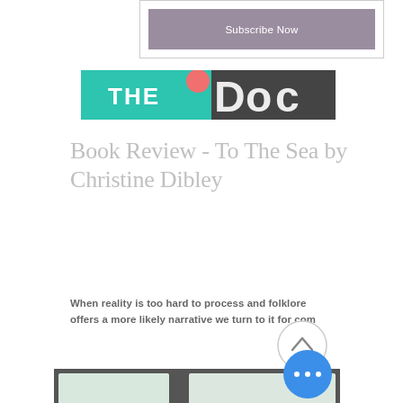[Figure (screenshot): Subscribe Now button with mauve/purple background inside a bordered box]
[Figure (photo): Partial banner image showing THE and large white letters on a teal and blurred background]
Book Review - To The Sea by Christine Dibley
When reality is too hard to process and folklore offers a more likely narrative we turn to it for com
[Figure (photo): Photo of a book near a window with decorative bow/ribbon]